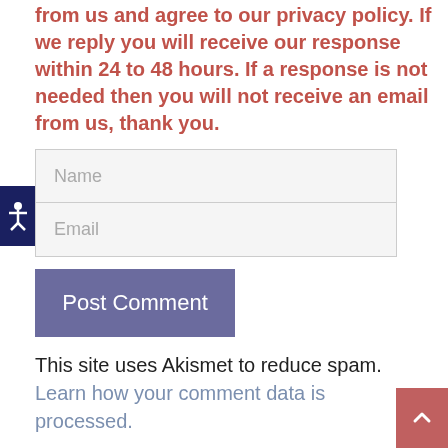from us and agree to our privacy policy. If we reply you will receive our response within 24 to 48 hours. If a response is not needed then you will not receive an email from us, thank you.
Name (input field)
Email (input field)
Post Comment (button)
This site uses Akismet to reduce spam. Learn how your comment data is processed.